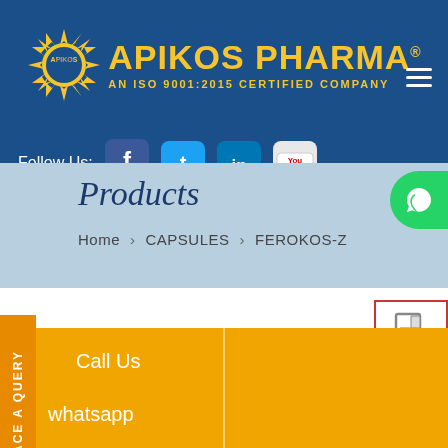[Figure (logo): Apikos Pharma logo with sun/star emblem in yellow and blue, text 'APIKOS PHARMA AN ISO 9001:2015 CERTIFIED COMPANY']
Follow Us:
[Figure (infographic): Social media icons: Facebook, Twitter, LinkedIn, YouTube]
Products
Home > CAPSULES > FEROKOS-Z
ACE A QUERY
[Figure (illustration): WhatsApp green circle button]
[Figure (illustration): Download/document icon with red arrow]
[Figure (photo): Partial product capsule image]
Call Us
whatsapp